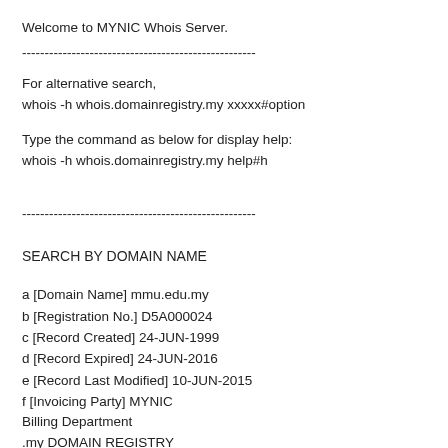Welcome to MYNIC Whois Server.
----------------------------------------------------
For alternative search,
whois -h whois.domainregistry.my xxxxx#option
Type the command as below for display help:
whois -h whois.domainregistry.my help#h
----------------------------------------------------
SEARCH BY DOMAIN NAME
a [Domain Name] mmu.edu.my
b [Registration No.] D5A000024
c [Record Created] 24-JUN-1999
d [Record Expired] 24-JUN-2016
e [Record Last Modified] 10-JUN-2015
f [Invoicing Party] MYNIC
Billing Department
.my DOMAIN REGISTRY